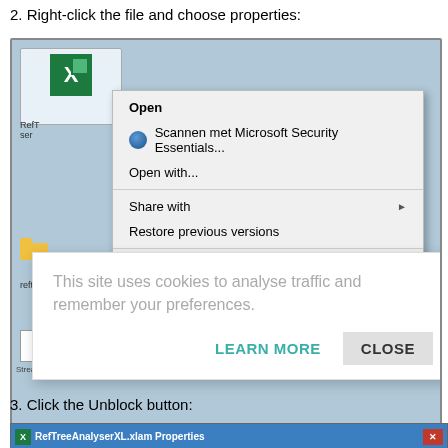2. Right-click the file and choose properties:
[Figure (screenshot): Windows desktop showing right-click context menu on an Excel .xlam file with options: Open (bold), Scannen met Microsoft Security Essentials..., Open with..., Share with (with arrow), Restore previous versions, Send to (with arrow), Cut, Copy. A cookie consent overlay dialog is visible at the bottom showing 'This site uses cookies to analyse traffic and remember your preferences.' with LEARN MORE and CLOSE buttons.]
3. Click the Unblock button:
[Figure (screenshot): Bottom portion showing RefTreeAnalyserXL.xlam Properties title bar]